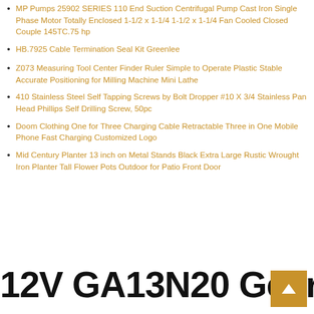MP Pumps 25902 SERIES 110 End Suction Centrifugal Pump Cast Iron Single Phase Motor Totally Enclosed 1-1/2 x 1-1/4 1-1/2 x 1-1/4 Fan Cooled Closed Couple 145TC.75 hp
HB.7925 Cable Termination Seal Kit Greenlee
Z073 Measuring Tool Center Finder Ruler Simple to Operate Plastic Stable Accurate Positioning for Milling Machine Mini Lathe
410 Stainless Steel Self Tapping Screws by Bolt Dropper #10 X 3/4 Stainless Pan Head Phillips Self Drilling Screw, 50pc
Doom Clothing One for Three Charging Cable Retractable Three in One Mobile Phone Fast Charging Customized Logo
Mid Century Planter 13 inch on Metal Stands Black Extra Large Rustic Wrought Iron Planter Tall Flower Pots Outdoor for Patio Front Door
12V GA13N20 Gear Box